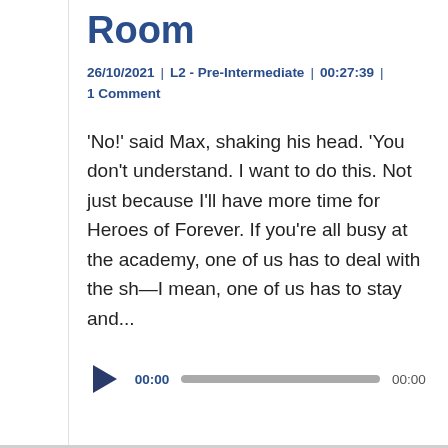Room
26/10/2021  |  L2 - Pre-Intermediate  |  00:27:39  |  1 Comment
'No!' said Max, shaking his head. 'You don't understand. I want to do this. Not just because I'll have more time for Heroes of Forever. If you're all busy at the academy, one of us has to deal with the sh—I mean, one of us has to stay and...
[Figure (other): Audio player with play button, 00:00 timestamp, progress bar, and 00:00 end timestamp]